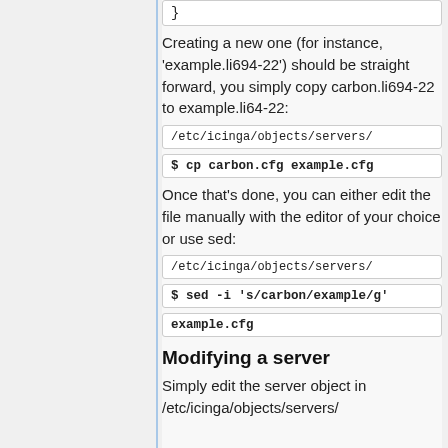}
Creating a new one (for instance, 'example.li694-22') should be straight forward, you simply copy carbon.li694-22 to example.li64-22:
/etc/icinga/objects/servers/
$ cp carbon.cfg example.cfg
Once that's done, you can either edit the file manually with the editor of your choice or use sed:
/etc/icinga/objects/servers/
$ sed -i 's/carbon/example/g' example.cfg
Modifying a server
Simply edit the server object in /etc/icinga/objects/servers/